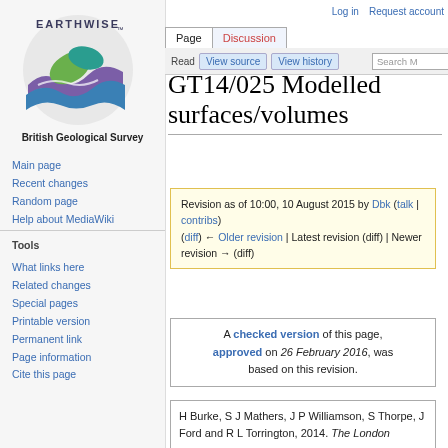Log in  Request account
[Figure (logo): Earthwise British Geological Survey logo with colorful geological layers and leaf motif]
British Geological Survey
Main page
Recent changes
Random page
Help about MediaWiki
Tools
What links here
Related changes
Special pages
Printable version
Permanent link
Page information
Cite this page
GT14/025 Modelled surfaces/volumes
Revision as of 10:00, 10 August 2015 by Dbk (talk | contribs) (diff) ← Older revision | Latest revision (diff) | Newer revision → (diff)
A checked version of this page, approved on 26 February 2016, was based on this revision.
H Burke, S J Mathers, J P Williamson, S Thorpe, J Ford and R L Torrington, 2014. The London